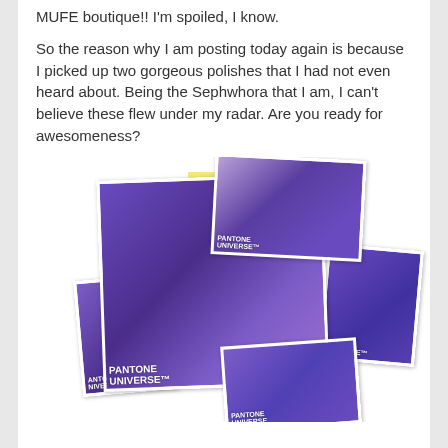MUFE boutique!! I'm spoiled, I know.
So the reason why I am posting today again is because I picked up two gorgeous polishes that I had not even heard about. Being the Sephwhora that I am, I can't believe these flew under my radar. Are you ready for awesomeness?
[Figure (photo): A collage of five overlapping photos showing purple Pantone Universe nail polish bottles and a hand with purple shimmer nail polish applied on the nails.]